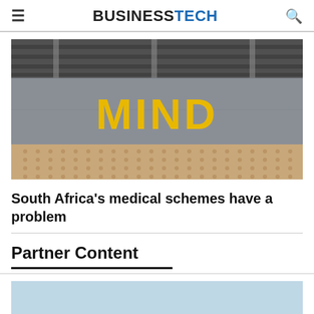BUSINESSTECH
[Figure (photo): Aerial/overhead view of a train platform edge with the word MIND painted in large yellow letters on grey concrete, with tactile paving strip below and railway tracks above.]
South Africa's medical schemes have a problem
Partner Content
[Figure (photo): Partial bottom image, light blue/grey background, partially visible.]